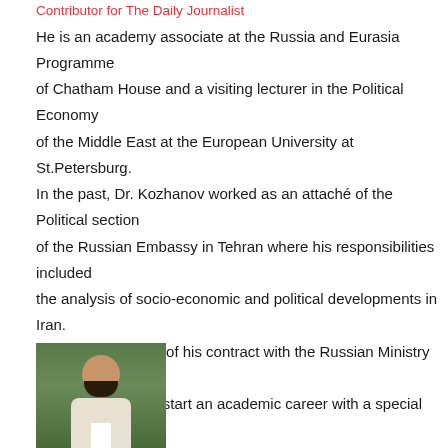Contributor for The Daily Journalist
He is an academy associate at the Russia and Eurasia Programme of Chatham House and a visiting lecturer in the Political Economy of the Middle East at the European University at St.Petersburg. In the past, Dr. Kozhanov worked as an attaché of the Political section of the Russian Embassy in Tehran where his responsibilities included the analysis of socio-economic and political developments in Iran. After the expiration of his contract with the Russian Ministry of Foreign Affairs, Nikolay decided to start an academic career with a special focus on the issues of the international relations and political economy of the Middle East (choosing Iran and the Persian Gulf as a priority area of studies). His recent publications include: Russia and the Syrian Conflict: Moscow's Domestic, Regional and Strategic Interests (London, Berlin: Gerlach Pr...
[Figure (photo): Portrait photo of a man with a beard wearing a light-colored shirt, photographed against a green background]